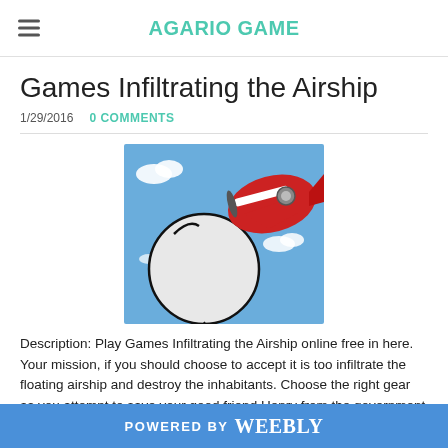AGARIO GAME
Games Infiltrating the Airship
1/29/2016   0 COMMENTS
[Figure (illustration): Game screenshot showing a large white circular blob character and a red airplane/airship against a blue sky with white clouds]
Description: Play Games Infiltrating the Airship online free in here. Your mission, if you should choose to accept it is too infiltrate the floating airship and destroy the inhabitants. Choose the right gear as you attempt to save your good friend Henry from the government by doing them a sly favour. Agario game Play Games Infiltrating the Airship
POWERED BY weebly